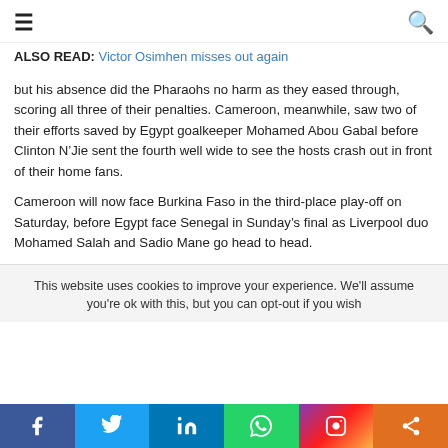≡  🔍
ALSO READ: Victor Osimhen misses out again
but his absence did the Pharaohs no harm as they eased through, scoring all three of their penalties. Cameroon, meanwhile, saw two of their efforts saved by Egypt goalkeeper Mohamed Abou Gabal before Clinton N'Jie sent the fourth well wide to see the hosts crash out in front of their home fans.
Cameroon will now face Burkina Faso in the third-place play-off on Saturday, before Egypt face Senegal in Sunday's final as Liverpool duo Mohamed Salah and Sadio Mane go head to head.
This website uses cookies to improve your experience. We'll assume you're ok with this, but you can opt-out if you wish
f  Twitter  in  WhatsApp  Instagram  Share